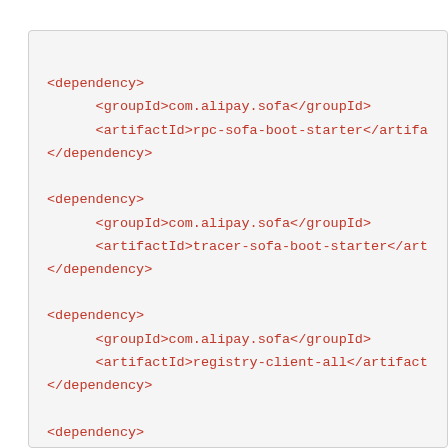[Figure (screenshot): XML code block showing Maven dependency declarations for SOFARPC, SOFATracer, SOFARegistry, and runtime dependencies with groupId com.alipay.sofa and various artifactId values]